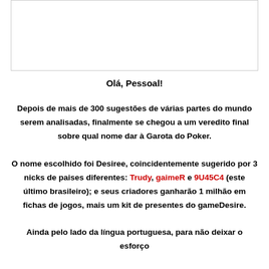[Figure (other): White rectangular image placeholder box with border]
Olá, Pessoal!
Depois de mais de 300 sugestões de várias partes do mundo serem analisadas, finalmente se chegou a um veredito final sobre qual nome dar à Garota do Poker.

O nome escolhido foi Desiree, coincidentemente sugerido por 3 nicks de paises diferentes: Trudy, gaimeR e 9U45C4 (este último brasileiro); e seus criadores ganharão 1 milhão em fichas de jogos, mais um kit de presentes do gameDesire.

Ainda pelo lado da língua portuguesa, para não deixar o esforço